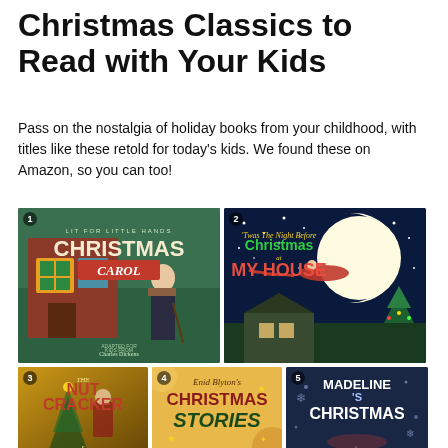Christmas Classics to Read with Your Kids
Pass on the nostalgia of holiday books from your childhood, with titles like these retold for today's kids. We found these on Amazon, so you can too!
[Figure (photo): Grid of 5 children's Christmas book covers: 1) Christmas Carol (Charles Dickens adaptation), 2) 'Twas The Night Before Christmas at My House, 3) The Nutcracker, 4) Enid Blyton's Christmas Stories, 5) Madeline's Christmas]